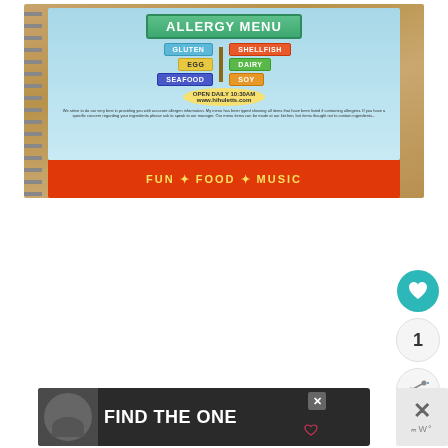[Figure (photo): Photo of a spiral-bound allergy menu booklet on a wooden table. The cover shows street-style signs listing allergens: GLUTEN, EGG, SEAFOOD on the left and SHELLFISH, DAIRY, SOY on the right, under an ALLERGY MENU title sign. Bottom of cover reads FUN * FOOD * MUSIC in red banner with yellow text.]
[Figure (screenshot): Screenshot UI showing a teal heart/favorite button, a count of 1, and a share button on the right side of the page.]
[Figure (photo): Advertisement banner at the bottom showing a dog photo on dark background with text FIND THE ONE and a close/X button on the right.]